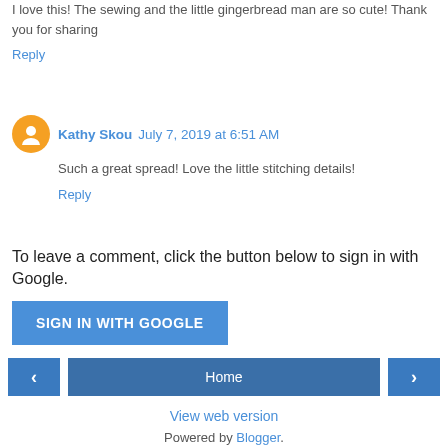I love this! The sewing and the little gingerbread man are so cute! Thank you for sharing
Reply
Kathy Skou  July 7, 2019 at 6:51 AM
Such a great spread! Love the little stitching details!
Reply
To leave a comment, click the button below to sign in with Google.
SIGN IN WITH GOOGLE
Home
View web version
Powered by Blogger.